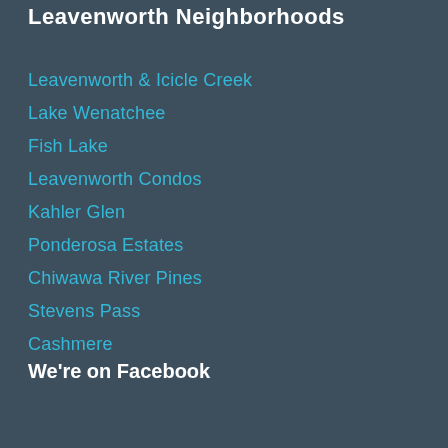Leavenworth Neighborhoods
Leavenworth & Icicle Creek
Lake Wenatchee
Fish Lake
Leavenworth Condos
Kahler Glen
Ponderosa Estates
Chiwawa River Pines
Stevens Pass
Cashmere
We're on Facebook